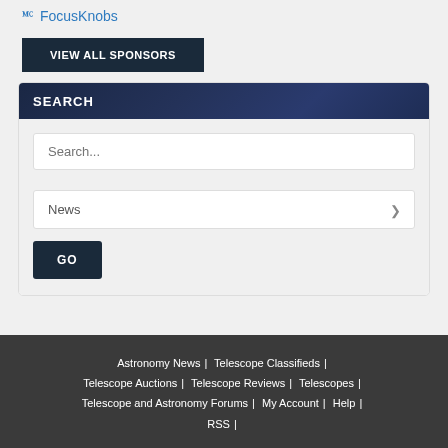FocusKnobs
VIEW ALL SPONSORS
SEARCH
Search...
News
GO
Astronomy News | Telescope Classifieds | Telescope Auctions | Telescope Reviews | Telescopes | Telescope and Astronomy Forums | My Account | Help | RSS |